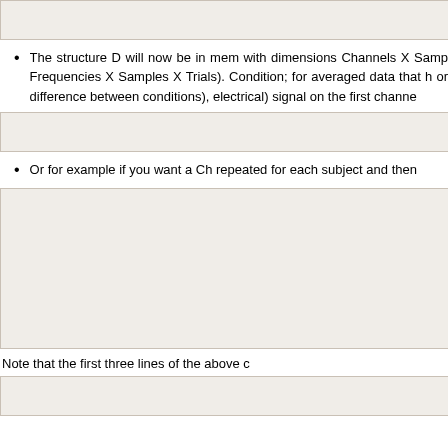[Figure (screenshot): Code block showing: D = spm_eeg_ldata('yourf...]
The structure D will now be in mem with dimensions Channels X Samp Frequencies X Samples X Trials). Condition; for averaged data that h or difference between conditions), electrical) signal on the first channe
[Figure (screenshot): Code block showing: d = D.data(1,2,3)]
Or for example if you want a Ch repeated for each subject and then
[Figure (screenshot): Code block showing: twin = [100 200]; stimulus; swin = round(twin*D.Rad rate) swin = swin + D.ev (D.events.start) d = mean(D.data(:,swin(1]
Note that the first three lines of the above c
[Figure (screenshot): Code block showing: swin = meg_t2s([100 200]...]